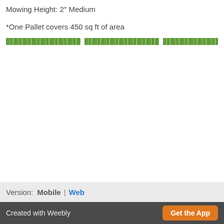Mowing Height:  2" Medium
*One Pallet covers 450 sq ft of area
[Figure (illustration): Three horizontal strips of green grass texture side by side]
Version:  Mobile  |  Web
Created with Weebly  Get the App